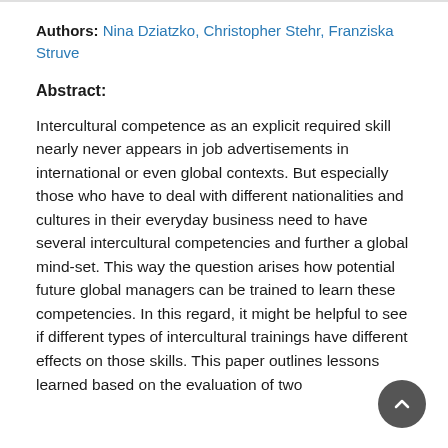Authors: Nina Dziatzko, Christopher Stehr, Franziska Struve
Abstract:
Intercultural competence as an explicit required skill nearly never appears in job advertisements in international or even global contexts. But especially those who have to deal with different nationalities and cultures in their everyday business need to have several intercultural competencies and further a global mind-set. This way the question arises how potential future global managers can be trained to learn these competencies. In this regard, it might be helpful to see if different types of intercultural trainings have different effects on those skills. This paper outlines lessons learned based on the evaluation of two